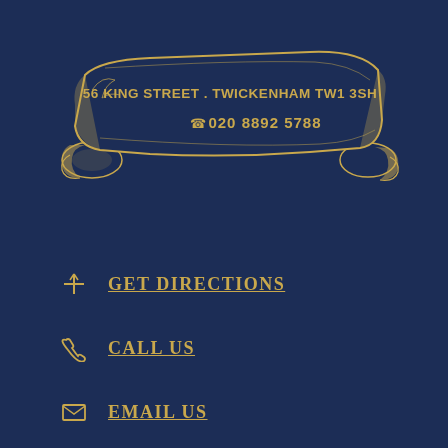[Figure (illustration): Decorative banner/ribbon illustration containing address and phone number text: '56 KING STREET . TWICKENHAM TW1 3SH' and telephone icon '020 8892 5788']
GET DIRECTIONS
CALL US
EMAIL US